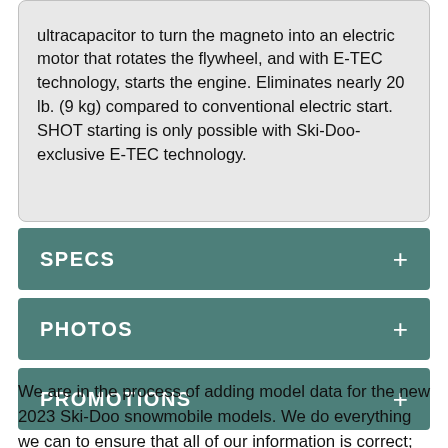ultracapacitor to turn the magneto into an electric motor that rotates the flywheel, and with E-TEC technology, starts the engine. Eliminates nearly 20 lb. (9 kg) compared to conventional electric start. SHOT starting is only possible with Ski-Doo-exclusive E-TEC technology.
SPECS +
PHOTOS +
PROMOTIONS +
We are in the process of adding model data for the new 2023 Ski-Doo snowmobile models. We do everything we can to ensure that all of our information is correct; however, during the initial stages...